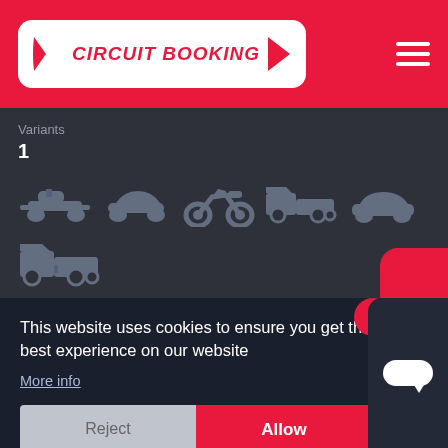[Figure (logo): Circuit Booking logo with white background, red text, italic style and racing car arrow shapes]
Variants
1
[Figure (illustration): Six vehicle type icons: formula car, sports car, motorcycle, truck with trailer, sedan car, another truck with trailer — in light blue-grey color on dark background]
This website uses cookies to ensure you get the best experience on our website
More info
Reject
Allow
Type